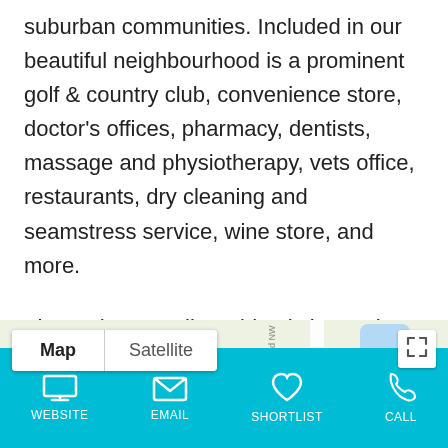suburban communities. Included in our beautiful neighbourhood is a prominent golf & country club, convenience store, doctor's offices, pharmacy, dentists, massage and physiotherapy, vets office, restaurants, dry cleaning and seamstress service, wine store, and more.
The Lodge at Valley Ridge is located at 11479 Valley Ridge Drive NW, Calgary, Alberta, T3B5V5.
[Figure (map): Google Maps embed showing the area around Valley Ridge Drive NW, Calgary, with map/satellite toggle buttons and a location marker near Valley Ridge Family Physicians]
WEBSITE   EMAIL   SHORTLIST   CALL